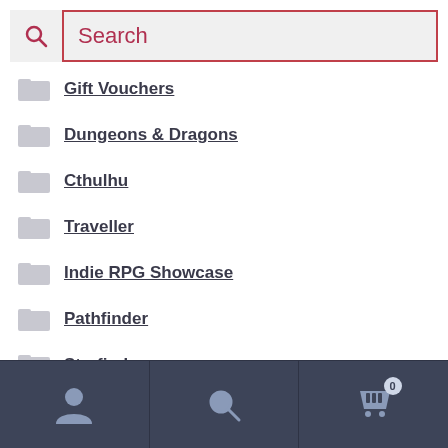[Figure (screenshot): Search bar with magnifying glass icon and pink/red border, placeholder text 'Search']
Gift Vouchers
Dungeons & Dragons
Cthulhu
Traveller
Indie RPG Showcase
Pathfinder
Starfinder
7th Sea
A Game of Thrones RPG / A Song of Ice and Fire RPG
[Figure (screenshot): Bottom navigation bar with user icon, search icon, and shopping cart icon with badge showing 0]